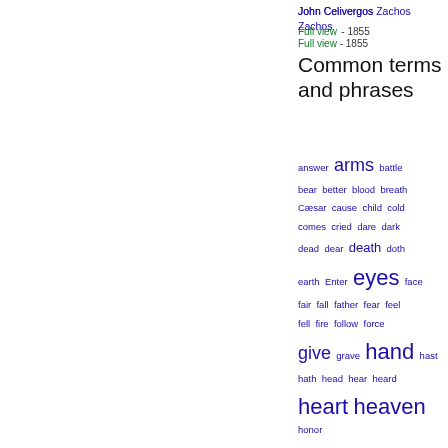John Celivergos Zachos
Full view - 1855
Common terms and phrases
answer arms battle bear better blood breath Cæsar cause child cold comes cried dare dark dead dear death doth earth Enter eyes face fair fall father fear feel fell fire follow force give grave hand hast hath head hear heard heart heaven honor hope hour human king land learned leave liberty